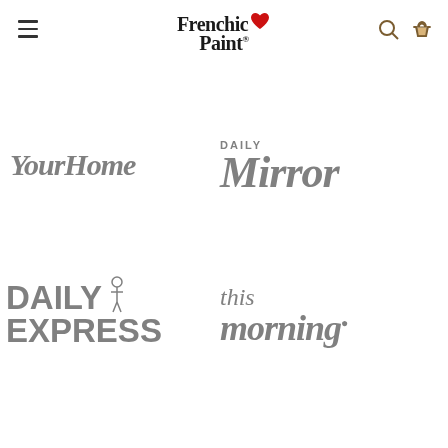[Figure (logo): Frenchic Paint logo with red heart and brand name in handwritten style font, plus navigation hamburger menu and search/basket icons]
[Figure (logo): YourHome magazine logo in grey serif italic font]
[Figure (logo): Daily Mirror newspaper logo in grey serif italic font with DAILY in small caps above Mirror]
[Figure (logo): Daily Express newspaper logo in grey bold sans-serif font with crusader knight icon]
[Figure (logo): This Morning TV show logo in grey serif italic font]